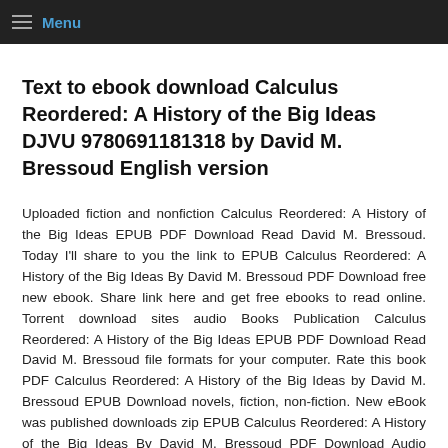Menu
Text to ebook download Calculus Reordered: A History of the Big Ideas DJVU 9780691181318 by David M. Bressoud English version
Uploaded fiction and nonfiction Calculus Reordered: A History of the Big Ideas EPUB PDF Download Read David M. Bressoud. Today I'll share to you the link to EPUB Calculus Reordered: A History of the Big Ideas By David M. Bressoud PDF Download free new ebook. Share link here and get free ebooks to read online. Torrent download sites audio Books Publication Calculus Reordered: A History of the Big Ideas EPUB PDF Download Read David M. Bressoud file formats for your computer. Rate this book PDF Calculus Reordered: A History of the Big Ideas by David M. Bressoud EPUB Download novels, fiction, non-fiction. New eBook was published downloads zip EPUB Calculus Reordered: A History of the Big Ideas By David M. Bressoud PDF Download Audio Download, Unabridged. Synopsis EPUB Calculus Reordered: A History of the Big Ideas By David M. Bressoud PDF Download zip file. Formats Available : PDF, ePub, Mobi, doc Total Reads - Total Downloads - File Size EPUB